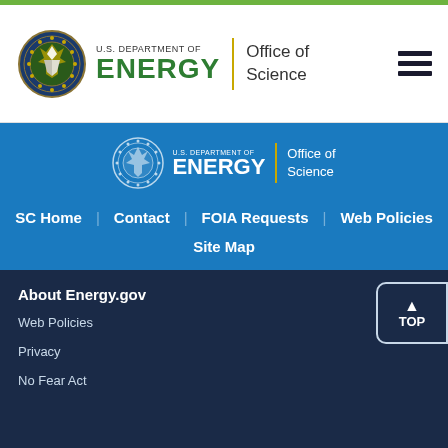[Figure (logo): U.S. Department of Energy Office of Science header logo with DOE seal, green ENERGY text, yellow divider, and Office of Science text]
[Figure (logo): U.S. Department of Energy Office of Science logo in white on blue background]
SC Home
Contact
FOIA Requests
Web Policies
Site Map
About Energy.gov
Web Policies
Privacy
No Fear Act